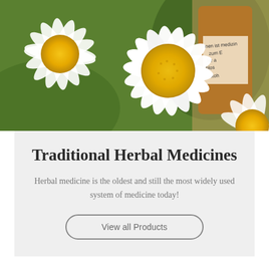[Figure (photo): Close-up photo of white daisy flowers with yellow centers and green leaves, with a brown medicine bottle partially visible in the background with German text including 'Alkohol']
Traditional Herbal Medicines
Herbal medicine is the oldest and still the most widely used system of medicine today!
View all Products
Capsules